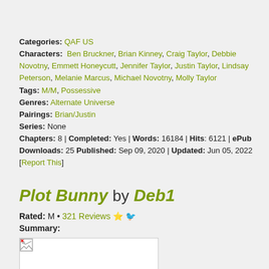Categories: QAF US
Characters: Ben Bruckner, Brian Kinney, Craig Taylor, Debbie Novotny, Emmett Honeycutt, Jennifer Taylor, Justin Taylor, Lindsay Peterson, Melanie Marcus, Michael Novotny, Molly Taylor
Tags: M/M, Possessive
Genres: Alternate Universe
Pairings: Brian/Justin
Series: None
Chapters: 8 | Completed: Yes | Words: 16184 | Hits: 6121 | ePub Downloads: 25 Published: Sep 09, 2020 | Updated: Jun 05, 2022
[Report This]
Plot Bunny by Deb1
Rated: M • 321 Reviews ⭐🐦
Summary:
[Figure (photo): Broken/placeholder image in a bordered box]